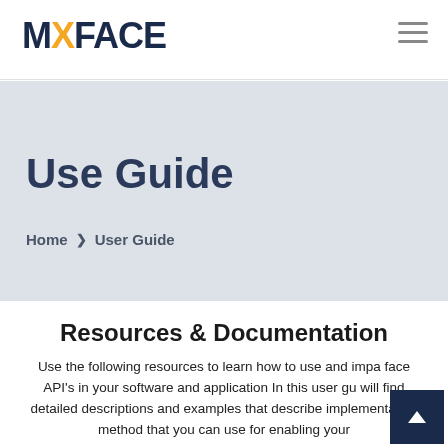MXFACE
Use Guide
Home › User Guide
Resources & Documentation
Use the following resources to learn how to use and implement MX face API's in your software and application In this user guide you will find detailed descriptions and examples that describe implementation method that you can use for enabling your